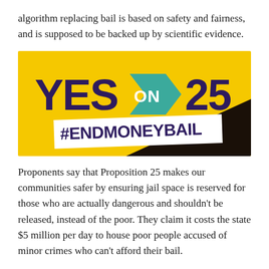algorithm replacing bail is based on safety and fairness, and is supposed to be backed up by scientific evidence.
[Figure (illustration): Campaign graphic for 'YES ON 25 #ENDMONEYBAIL' with yellow background, teal arrow shape containing 'ON', bold dark purple text 'YES' and '25', white banner with '#ENDMONEYBAIL' in dark purple, and dark lower-right section.]
Proponents say that Proposition 25 makes our communities safer by ensuring jail space is reserved for those who are actually dangerous and shouldn't be released, instead of the poor. They claim it costs the state $5 million per day to house poor people accused of minor crimes who can't afford their bail.